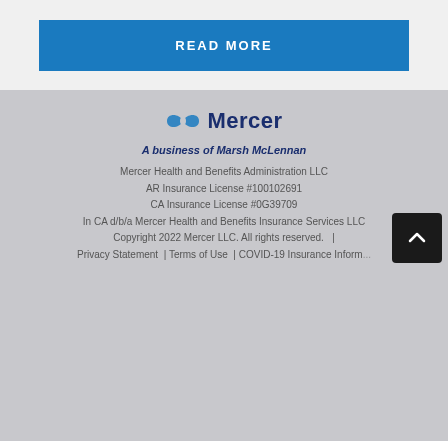READ MORE
[Figure (logo): Mercer logo with infinity-style swoosh icon and word 'Mercer' in navy blue]
A business of Marsh McLennan
Mercer Health and Benefits Administration LLC
AR Insurance License #100102691
CA Insurance License #0G39709
In CA d/b/a Mercer Health and Benefits Insurance Services LLC
Copyright 2022 Mercer LLC. All rights reserved.   |
Privacy Statement   | Terms of Use   | COVID-19 Insurance Inform...